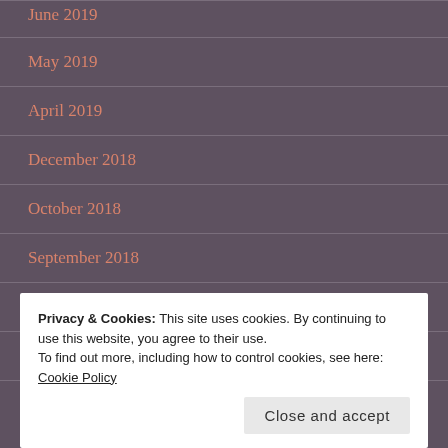June 2019
May 2019
April 2019
December 2018
October 2018
September 2018
August 2018
July 2018
Privacy & Cookies: This site uses cookies. By continuing to use this website, you agree to their use.
To find out more, including how to control cookies, see here: Cookie Policy
Close and accept